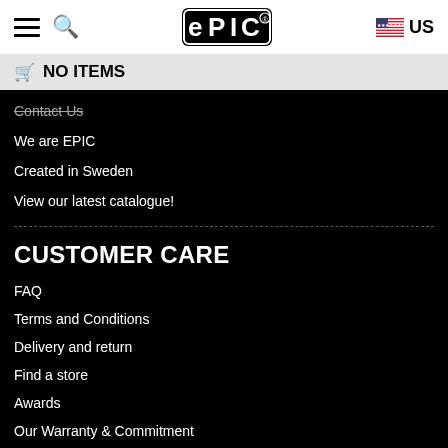EPIC — US
NO ITEMS
Contact Us
We are EPIC
Created in Sweden
View our latest catalogue!
CUSTOMER CARE
FAQ
Terms and Conditions
Delivery and return
Find a store
Awards
Our Warranty & Commitment